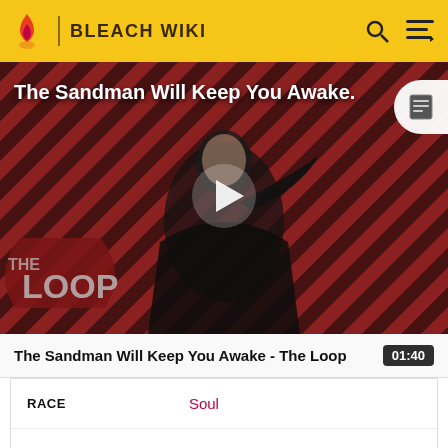BLEACH WIKI
[Figure (screenshot): Video thumbnail for 'The Sandman Will Keep You Awake - The Loop' showing a dark-clad figure against a diagonal striped red/dark background with a play button in the center and 'THE LOOP' logo in the lower left.]
The Sandman Will Keep You Awake - The Loop  01:40
| Field | Value |
| --- | --- |
| RACE | Soul |
| GENDER | Male |